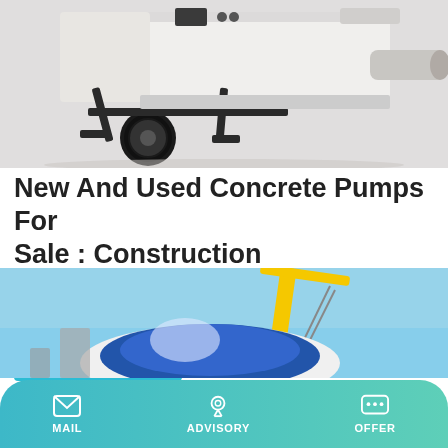[Figure (photo): White trailer-mounted concrete pump with black wheels and outrigger legs on white background]
New And Used Concrete Pumps For Sale : Construction
Our Main Office. Construction Equipment Guide 470 Maryland Drive Fort Washington, PA 19034 800-523-2200
[Figure (photo): Construction scene with blue sky, yellow crane and blue/white object being lifted]
MAIL   ADVISORY   OFFER